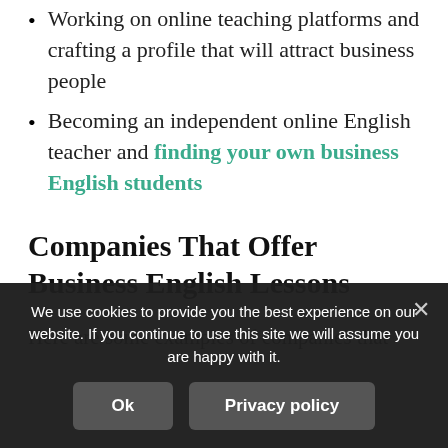Working on online teaching platforms and crafting a profile that will attract business people
Becoming an independent online English teacher and finding your own business English students
Companies That Offer Business English Lessons
Here are some examples of companies that
We use cookies to provide you the best experience on our website. If you continue to use this site we will assume you are happy with it.
Ok
Privacy policy